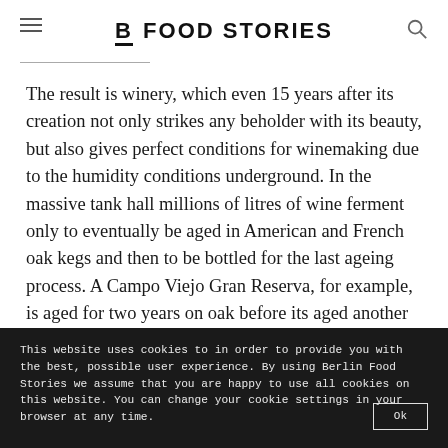B FOOD STORIES
The result is winery, which even 15 years after its creation not only strikes any beholder with its beauty, but also gives perfect conditions for winemaking due to the humidity conditions underground. In the massive tank hall millions of litres of wine ferment only to eventually be aged in American and French oak kegs and then to be bottled for the last ageing process. A Campo Viejo Gran Reserva, for example, is aged for two years on oak before its aged another three years in a bottle.
This website uses cookies to in order to provide you with the best, possible user experience. By using Berlin Food Stories we assume that you are happy to use all cookies on this website. You can change your cookie settings in your browser at any time.